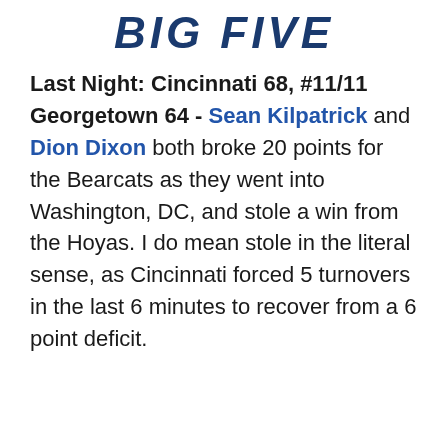BIG FIVE
Last Night: Cincinnati 68, #11/11 Georgetown 64 - Sean Kilpatrick and Dion Dixon both broke 20 points for the Bearcats as they went into Washington, DC, and stole a win from the Hoyas. I do mean stole in the literal sense, as Cincinnati forced 5 turnovers in the last 6 minutes to recover from a 6 point deficit.